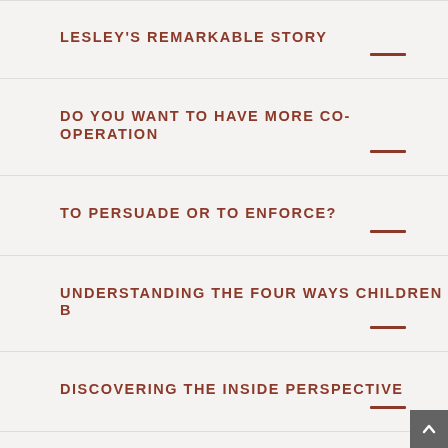LESLEY'S REMARKABLE STORY
DO YOU WANT TO HAVE MORE CO-OPERATION
TO PERSUADE OR TO ENFORCE?
UNDERSTANDING THE FOUR WAYS CHILDREN B
DISCOVERING THE INSIDE PERSPECTIVE